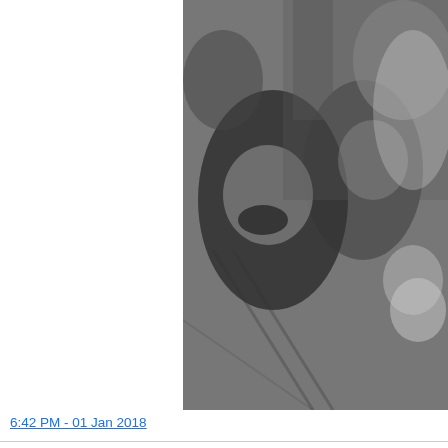[Figure (photo): Black and white photo of people laughing and celebrating, partially cropped at top, showing faces of adults and a young girl]
6:42 PM - 01 Jan 2018
[Figure (photo): Small square profile photo of Joshua Miller, a man with dark hair]
oshua Miller
)jm_bos
50 YEARS AGO TODAY: Boston Mayor Kevin White stand together at the Inaugural Ball at the Sheraton H Photo: Ted Dully/Globe Staff via @BostonGlobe arch #bospoli https://pbs.twimg.com/media/DSefOYfXcAA
[Figure (photo): Black and white photo, partially visible, dark background with some light elements, cropped]